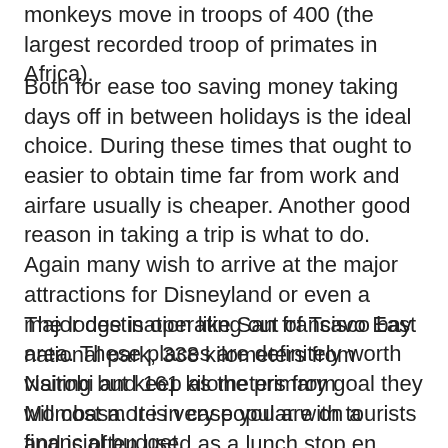monkeys move in troops of 400 (the largest recorded troop of primates in Africa).
Both for ease too saving money taking days off in between holidays is the ideal choice. During these times that ought to easier to obtain time far from work and airfare usually is cheaper. Another good reason in taking a trip is what to do. Again many wish to arrive at the major attractions for Disneyland or even a major destination like San francisco bay area. These places are definitely worth visiting but keep as the primary goal they will cost more in case you are on a financial budget.
The lodge is operating out of Tsavo East national park, 338 kilometers from Nairobi and 161 kilometers from Mombasa. It is very popular with tourists and is often used as a lunch stop en route between Mombasa and Nairobi. There is actually airstrip three